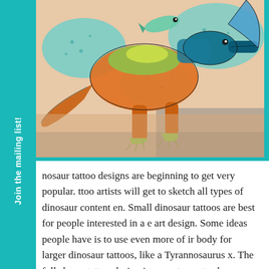[Figure (photo): Close-up photograph of a colorful dinosaur tattoo on skin. The tattoo features a stylized dinosaur in orange, green, yellow, and teal colors, with blue decorative elements, rendered in a vibrant illustrative style.]
nosaur tattoo designs are beginning to get very popular. ttoo artists will get to sketch all types of dinosaur content en. Small dinosaur tattoos are best for people interested in a e art design. Some ideas people have is to use even more of ir body for larger dinosaur tattoos, like a Tyrannosaurus x. The full sleeve tattoo design is a great way to show your emotional connection to dinosaurs, while having some Jurassic size tattoo designs on your body.